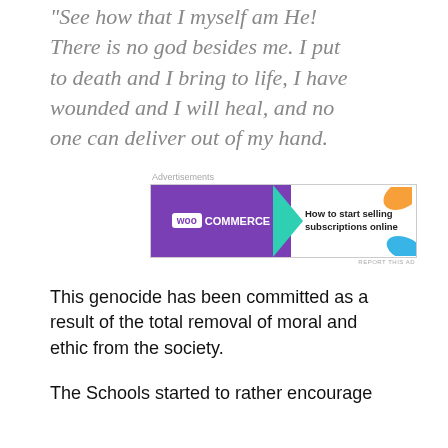"See how that I myself am He! There is no god besides me. I put to death and I bring to life, I have wounded and I will heal, and no one can deliver out of my hand.
[Figure (other): WooCommerce advertisement banner with purple background, teal arrow, orange and blue leaf shapes, and text 'How to start selling subscriptions online']
This genocide has been committed as a result of the total removal of moral and ethic from the society.
The Schools started to rather encourage